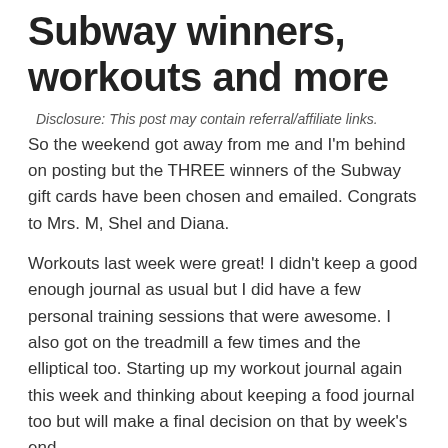Subway winners, workouts and more
Disclosure: This post may contain referral/affiliate links.
So the weekend got away from me and I'm behind on posting but the THREE winners of the Subway gift cards have been chosen and emailed.  Congrats to Mrs. M, Shel and Diana.
Workouts last week were great!  I didn't keep a good enough journal as usual but I did have a few personal training sessions that were awesome.  I also got on the treadmill a few times and the elliptical too.  Starting up my workout journal again this week and thinking about keeping a food journal too but will make a final decision on that by week's end.
Starting this Sunday, I believe hubby and I will be doing